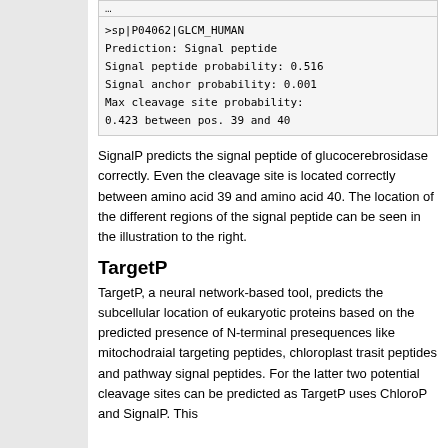>sp|P04062|GLCM_HUMAN
Prediction: Signal peptide
Signal peptide probability: 0.516
Signal anchor probability: 0.001
Max cleavage site probability:
0.423 between pos. 39 and 40
SignalP predicts the signal peptide of glucocerebrosidase correctly. Even the cleavage site is located correctly between amino acid 39 and amino acid 40. The location of the different regions of the signal peptide can be seen in the illustration to the right.
TargetP
TargetP, a neural network-based tool, predicts the subcellular location of eukaryotic proteins based on the predicted presence of N-terminal presequences like mitochodraial targeting peptides, chloroplast trasit peptides and pathway signal peptides. For the latter two potential cleavage sites can be predicted as TargetP uses ChloroP and SignalP. This